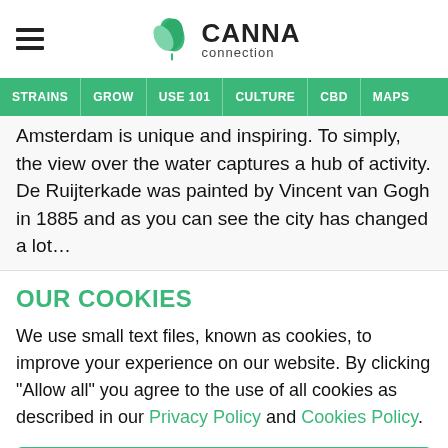[Figure (logo): Canna Connection logo with green cannabis leaf icon and text 'CANNA connection']
STRAINS | GROW | USE 101 | CULTURE | CBD | MAPS
…Amsterdam is unique and inspiring. To simply, the view over the water captures a hub of activity. De Ruijterkade was painted by Vincent van Gogh in 1885 and as you can see the city has changed a lot…
OUR COOKIES
We use small text files, known as cookies, to improve your experience on our website. By clicking "Allow all" you agree to the use of all cookies as described in our Privacy Policy and Cookies Policy.
Allow all
Reject all
Manage cookies